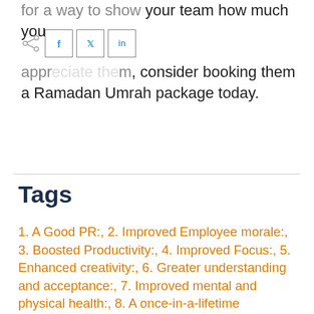for a way to show your team how much you appreciate them, consider booking them a Ramadan Umrah package today.
Tags
1. A Good PR:, 2. Improved Employee morale:, 3. Boosted Productivity:, 4. Improved Focus:, 5. Enhanced creativity:, 6. Greater understanding and acceptance:, 7. Improved mental and physical health:, 8. A once-in-a-lifetime experience:, Closing, ramadan umrah packages give your employee a gift, ramadan umrah packages: give your employee a gift of an incredible spiritual journey!